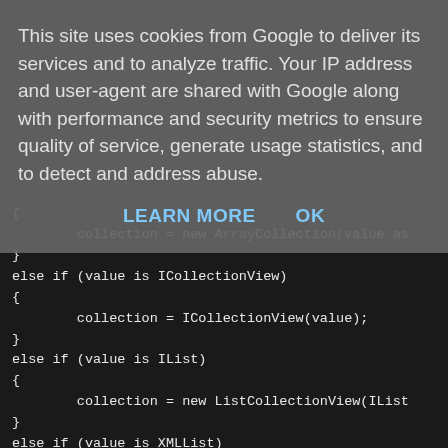This site uses cookies from Google to deliver its services and to analyze traffic. Your IP address and user-agent are shared with Google along with performance and security metrics to ensure quality of service, generate usage statistics, and to detect and address abuse.
LEARN MORE   OK
{
        collection = new ArrayCollection(value as
}
else if (value is ICollectionView)
{
        collection = ICollectionView(value);
}
else if (value is IList)
{
        collection = new ListCollectionView(IList
}
else if (value is XMLList)
{
        collection = new XMLListCollection(value
}
else if (value is XML)
{
        var xl:XMLList = new XMLList();